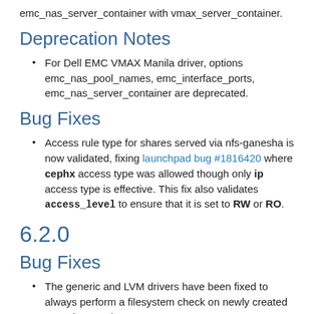emc_nas_server_container with vmax_server_container.
Deprecation Notes
For Dell EMC VMAX Manila driver, options emc_nas_pool_names, emc_interface_ports, emc_nas_server_container are deprecated.
Bug Fixes
Access rule type for shares served via nfs-ganesha is now validated, fixing launchpad bug #1816420 where cephx access type was allowed though only ip access type is effective. This fix also validates access_level to ensure that it is set to RW or RO.
6.2.0
Bug Fixes
The generic and LVM drivers have been fixed to always perform a filesystem check on newly created snapshots and